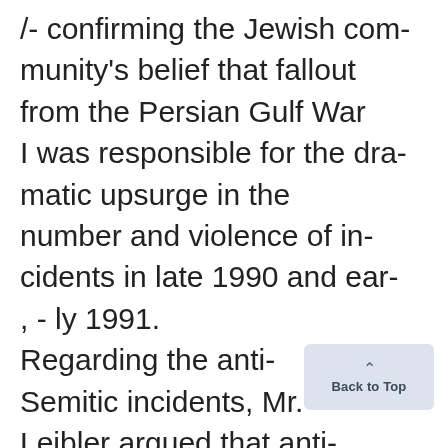/- confirming the Jewish community's belief that fallout from the Persian Gulf War I was responsible for the dramatic upsurge in the number and violence of incidents in late 1990 and early 1991. Regarding the anti-Semitic incidents, Mr. Leibler argued that anti-racist legislation and effective political leadership to combat racism could
[Figure (other): Back to Top button with upward arrow chevron, light blue-grey rounded rectangle]